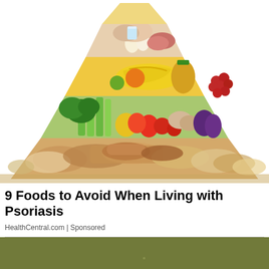[Figure (photo): Food pyramid illustration showing various food groups: breads and grains at the base, vegetables and fruits in the middle layers, dairy, meats and proteins at the top. The pyramid is arranged against a white background.]
9 Foods to Avoid When Living with Psoriasis
HealthCentral.com | Sponsored
[Figure (photo): Partially visible image with olive/khaki green background, appears to be an outdoor or nature scene, bottom portion of the page.]